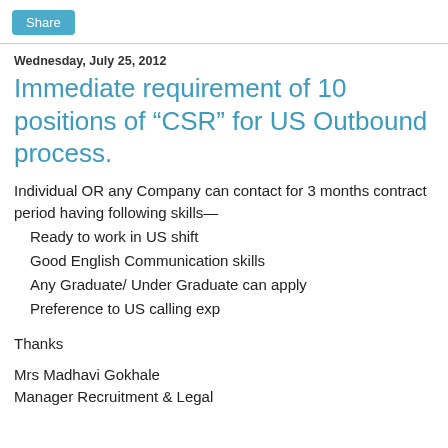Share
Wednesday, July 25, 2012
Immediate requirement of 10 positions of “CSR” for US Outbound process.
Individual OR any Company can contact for 3 months contract period having following skills—
Ready to work in US shift
Good English Communication skills
Any Graduate/ Under Graduate can apply
Preference to US calling exp
Thanks
Mrs Madhavi Gokhale
Manager Recruitment & Legal